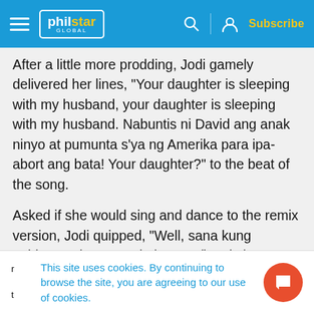philstar GLOBAL — navigation bar with hamburger menu, search, profile, Subscribe
After a little more prodding, Jodi gamely delivered her lines, “Your daughter is sleeping with my husband, your daughter is sleeping with my husband. Nabuntis ni David ang anak ninyo at pumunta s’ya ng Amerika para ipa-abort ang bata! Your daughter?” to the beat of the song.
Asked if she would sing and dance to the remix version, Jodi quipped, “Well, sana kung nabigyan ako ng pagkakataon (laughs).”
Kidding aside, Jodi said she told AC to continu...
This site uses cookies. By continuing to browse the site, you are agreeing to our use of cookies.